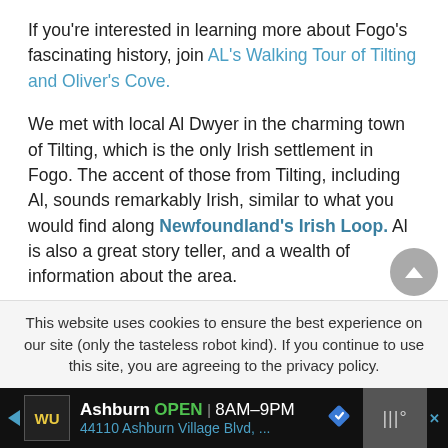If you're interested in learning more about Fogo's fascinating history, join AL's Walking Tour of Tilting and Oliver's Cove.
We met with local Al Dwyer in the charming town of Tilting, which is the only Irish settlement in Fogo. The accent of those from Tilting, including Al, sounds remarkably Irish, similar to what you would find along Newfoundland's Irish Loop. Al is also a great story teller, and a wealth of information about the area.
This website uses cookies to ensure the best experience on our site (only the tasteless robot kind). If you continue to use this site, you are agreeing to the privacy policy.
Ashburn OPEN 8AM–9PM 44110 Ashburn Village Blvd, ...